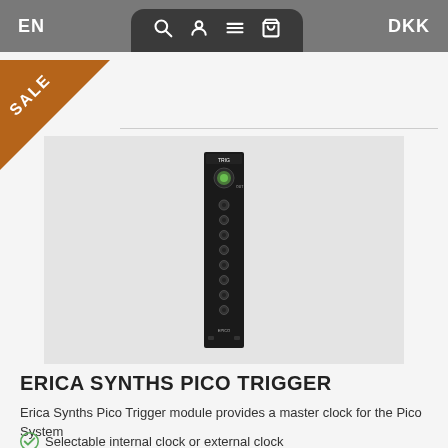EN  [search] [user] [menu] [cart]  DKK
[Figure (photo): Erica Synths Pico Trigger eurorack module - a narrow black module with knobs and jacks, vertical orientation, with a green LED at the top, shown against a light gray background]
ERICA SYNTHS PICO TRIGGER
Erica Synths Pico Trigger module provides a master clock for the Pico System
Selectable internal clock or external clock
Clock output